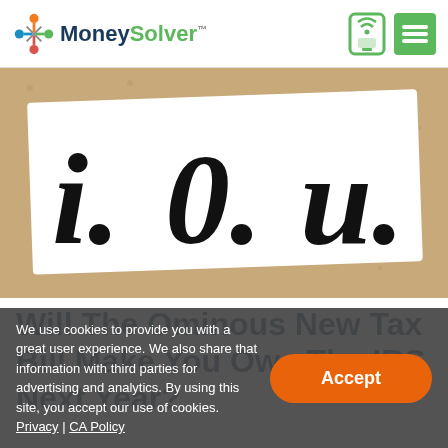MoneySolver
[Figure (photo): A hand-written I.O.U. note on white paper placed on a corkboard background, with large bold black handwritten letters spelling I.O.U.]
Will The Ominous New Tax Bill Make You Owe The IRS Next Year?
We use cookies to provide you with a great user experience. We also share that information with third parties for advertising and analytics. By using this site, you accept our use of cookies. Privacy | CA Policy